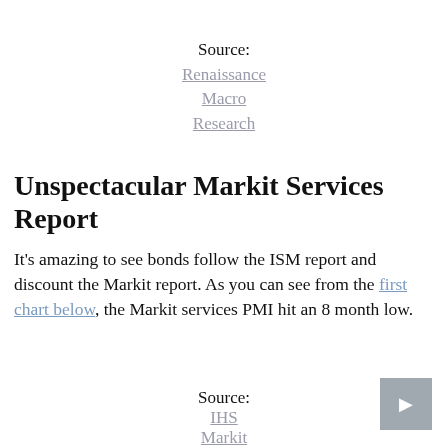Source:
Renaissance
Macro
Research
Unspectacular Markit Services Report
It's amazing to see bonds follow the ISM report and discount the Markit report. As you can see from the first chart below, the Markit services PMI hit an 8 month low.
Source:
IHS
Markit